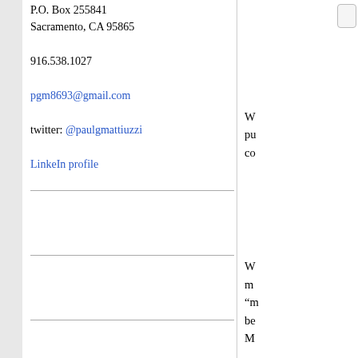P.O. Box 255841
Sacramento, CA 95865
916.538.1027
pgm8693@gmail.com
twitter: @paulgmattiuzzi
LinkeIn profile
W... pu... co...
W... m... “m... be... M...
A... m... th...